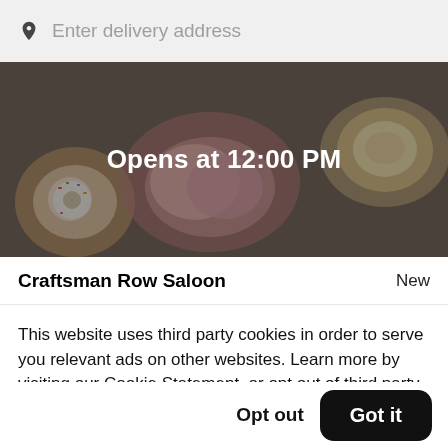Enter delivery address
[Figure (photo): Hero image of food dishes (donuts, pastries, plates) with dark overlay and text 'Opens at 12:00 PM' centered]
Craftsman Row Saloon    New
This website uses third party cookies in order to serve you relevant ads on other websites. Learn more by visiting our Cookie Statement, or opt out of third party ad cookies using the button below.
Opt out
Got it